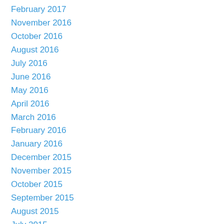February 2017
November 2016
October 2016
August 2016
July 2016
June 2016
May 2016
April 2016
March 2016
February 2016
January 2016
December 2015
November 2015
October 2015
September 2015
August 2015
July 2015
June 2015
April 2015
March 2015
February 2015